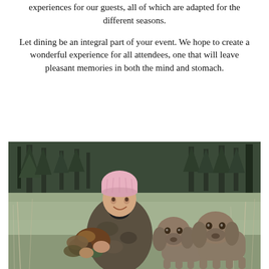experiences for our guests, all of which are adapted for the different seasons.
Let dining be an integral part of your event. We hope to create a wonderful experience for all attendees, one that will leave pleasant memories in both the mind and stomach.
[Figure (photo): A smiling woman wearing a pink beanie and camouflage jacket holds a freshly hunted pheasant, crouching outdoors in a wintry forest clearing. Two Weimaraner dogs sit beside her on the right. The background shows bare grass, frost, and dense conifer trees.]